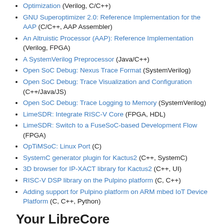Optimization (Verilog, C/C++)
GNU Superoptimizer 2.0: Reference Implementation for the AAP (C/C++, AAP Assembler)
An Altruistic Processor (AAP): Reference Implementation (Verilog, FPGA)
A SystemVerilog Preprocessor (Java/C++)
Open SoC Debug: Nexus Trace Format (SystemVerilog)
Open SoC Debug: Trace Visualization and Configuration (C++/Java/JS)
Open SoC Debug: Trace Logging to Memory (SystemVerilog)
LimeSDR: Integrate RISC-V Core (FPGA, HDL)
LimeSDR: Switch to a FuseSoC-based Development Flow (FPGA)
OpTiMSoC: Linux Port (C)
SystemC generator plugin for Kactus2 (C++, SystemC)
3D browser for IP-XACT library for Kactus2 (C++, UI)
RISC-V DSP library on the Pulpino platform (C, C++)
Adding support for Pulpino platform on ARM mbed IoT Device Platform (C, C++, Python)
Your LibreCore